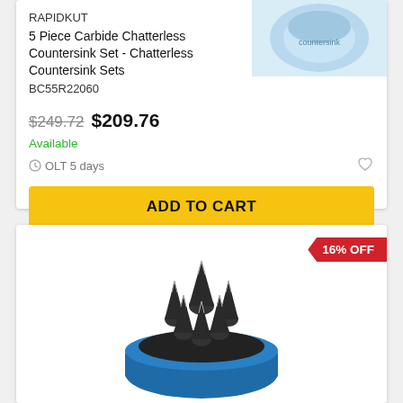RAPIDKUT
5 Piece Carbide Chatterless Countersink Set - Chatterless Countersink Sets
BC55R22060
$249.72  $209.76
Available
OLT 5 days
ADD TO CART
[Figure (photo): Blue cylindrical case holding carbide chatterless countersink bits (top card product image)]
[Figure (photo): Set of black carbide countersink bits arranged in a blue cylindrical holder, with 16% OFF badge]